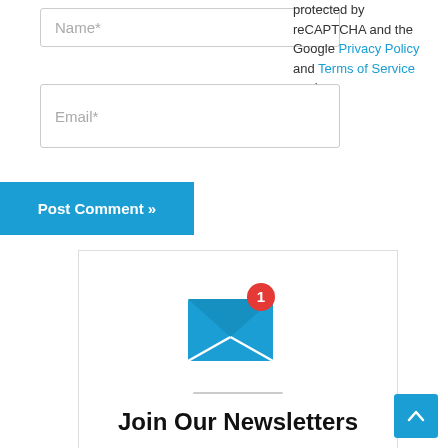Name*
Email*
protected by reCAPTCHA and the Google Privacy Policy and Terms of Service apply.
Post Comment »
[Figure (illustration): Envelope icon with blue background and red notification badge showing number 1]
Join Our Newsletters